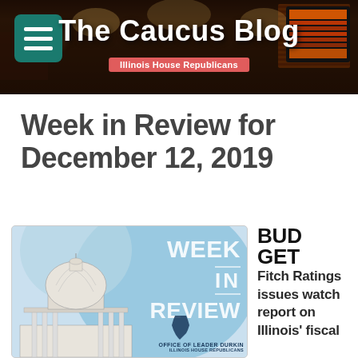The Caucus Blog — Illinois House Republicans
Week in Review for December 12, 2019
[Figure (photo): Week in Review graphic featuring Illinois State Capitol dome image with 'WEEK IN REVIEW' text overlay and 'Office of Leader Durkin – Illinois House Republicans' branding]
BUDGET Fitch Ratings issues watch report on Illinois' fiscal